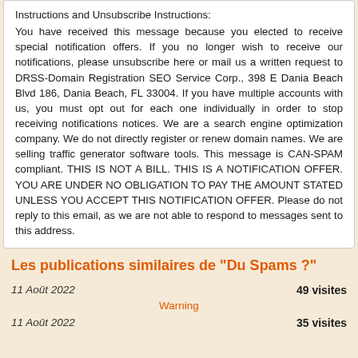Instructions and Unsubscribe Instructions:
You have received this message because you elected to receive special notification offers. If you no longer wish to receive our notifications, please unsubscribe here or mail us a written request to DRSS-Domain Registration SEO Service Corp., 398 E Dania Beach Blvd 186, Dania Beach, FL 33004. If you have multiple accounts with us, you must opt out for each one individually in order to stop receiving notifications notices. We are a search engine optimization company. We do not directly register or renew domain names. We are selling traffic generator software tools. This message is CAN-SPAM compliant. THIS IS NOT A BILL. THIS IS A NOTIFICATION OFFER. YOU ARE UNDER NO OBLIGATION TO PAY THE AMOUNT STATED UNLESS YOU ACCEPT THIS NOTIFICATION OFFER. Please do not reply to this email, as we are not able to respond to messages sent to this address.
Les publications similaires de "Du Spams ?"
11 Août 2022    49 visites
Warning
11 Août 2022    35 visites